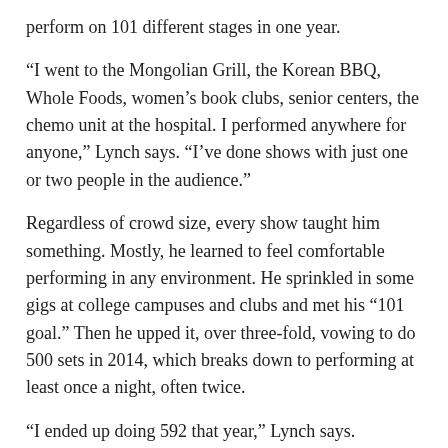perform on 101 different stages in one year.
“I went to the Mongolian Grill, the Korean BBQ, Whole Foods, women’s book clubs, senior centers, the chemo unit at the hospital. I performed anywhere for anyone,” Lynch says. “I’ve done shows with just one or two people in the audience.”
Regardless of crowd size, every show taught him something. Mostly, he learned to feel comfortable performing in any environment. He sprinkled in some gigs at college campuses and clubs and met his “101 goal.” Then he upped it, over three-fold, vowing to do 500 sets in 2014, which breaks down to performing at least once a night, often twice.
“I ended up doing 592 that year,” Lynch says.
Two months later, in February 2015, he auditioned for America’s Got Talent (AGT) where he won over the judges, particularly Howie Mandel, who hit the Golden Buzzer, sending Lynch straight through to the live show at Radio City Music Hall.